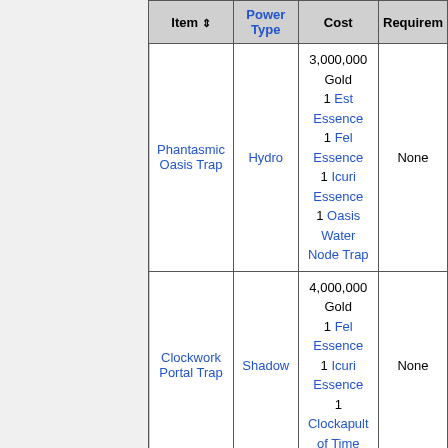| Item | Power Type | Cost | Requirements |
| --- | --- | --- | --- |
| Phantasmic Oasis Trap | Hydro | 3,000,000 Gold
1 Est Essence
1 Fel Essence
1 Icuri Essence
1 Oasis Water Node Trap | None |
| Clockwork Portal Trap | Shadow | 4,000,000 Gold
1 Fel Essence
1 Icuri Essence
1 Clockapult of Time | None |